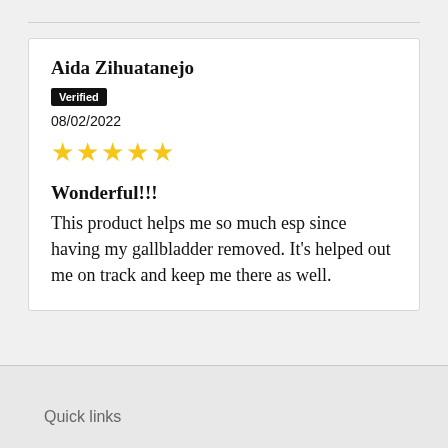Aida Zihuatanejo
Verified
08/02/2022
★★★★★
Wonderful!!!
This product helps me so much esp since having my gallbladder removed. It's helped out me on track and keep me there as well.
Quick links